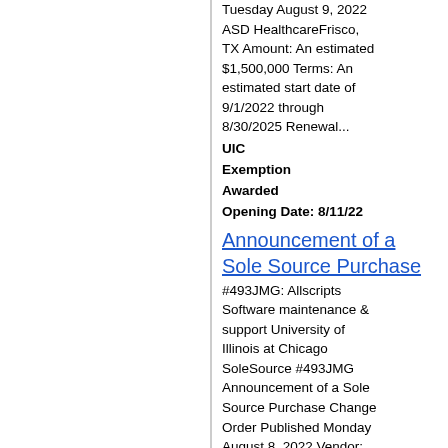Tuesday August 9, 2022 ASD HealthcareFrisco, TX Amount: An estimated $1,500,000 Terms: An estimated start date of 9/1/2022 through 8/30/2025 Renewal...
UIC
Exemption
Awarded
Opening Date: 8/11/22
Announcement of a Sole Source Purchase
#493JMG: Allscripts Software maintenance & support University of Illinois at Chicago SoleSource #493JMG Announcement of a Sole Source Purchase Change Order Published Monday August 8, 2022 Vendor: Allscripts Change Order Amount: $0 An assignment occurred on December 31, 2020 from Allscripts, LLC to ...
UIC
SoleSource
Awarded
Opening Date: 4/1/18
Hearing Date: 4/4/18